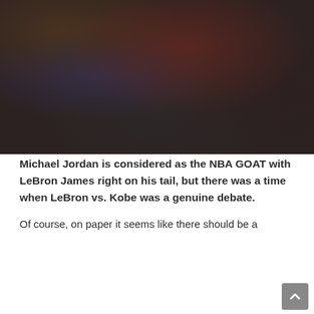[Figure (photo): Blurred basketball game photo showing players in red and blue jerseys with a crowd in the background]
Michael Jordan is considered as the NBA GOAT with LeBron James right on his tail, but there was a time when LeBron vs. Kobe was a genuine debate.
Of course, on paper it seems like there should be a